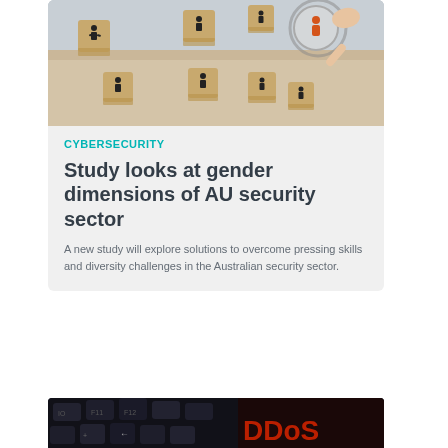[Figure (photo): Wooden blocks with human figure icons on them, scattered on a surface. One block is highlighted with a magnifying glass showing an orange figure among black figures.]
CYBERSECURITY
Study looks at gender dimensions of AU security sector
A new study will explore solutions to overcome pressing skills and diversity challenges in the Australian security sector.
[Figure (photo): Close-up of a dark keyboard with red-lit keys, partially showing text 'DDoS'.]